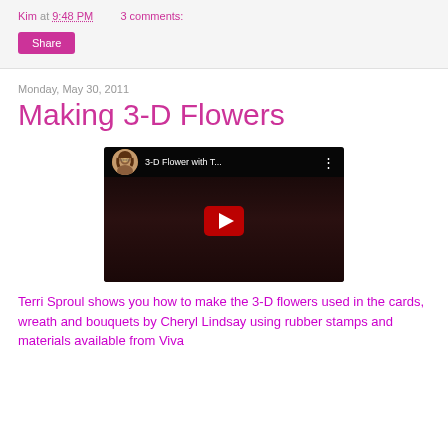Kim at 9:48 PM   3 comments:
Share
Monday, May 30, 2011
Making 3-D Flowers
[Figure (screenshot): YouTube video thumbnail showing '3-D Flower with T...' with a circular avatar of a woman, dark video background with hands crafting, and a red play button in the center]
Terri Sproul shows you how to make the 3-D flowers used in the cards, wreath and bouquets by Cheryl Lindsay using rubber stamps and materials available from Viva...